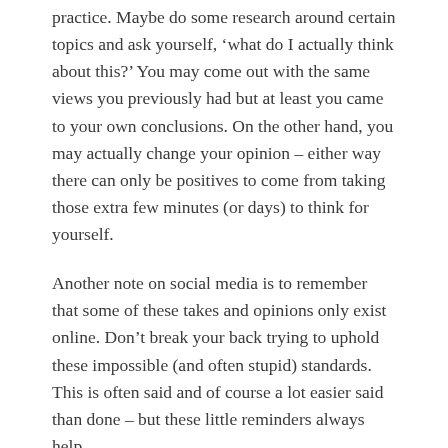practice. Maybe do some research around certain topics and ask yourself, ‘what do I actually think about this?’ You may come out with the same views you previously had but at least you came to your own conclusions. On the other hand, you may actually change your opinion – either way there can only be positives to come from taking those extra few minutes (or days) to think for yourself.
Another note on social media is to remember that some of these takes and opinions only exist online. Don’t break your back trying to uphold these impossible (and often stupid) standards. This is often said and of course a lot easier said than done – but these little reminders always help.